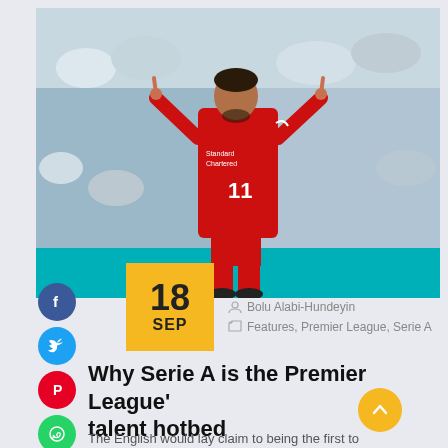[Figure (photo): Mohamed Salah wearing Liverpool's red number 11 jersey, raising both index fingers in celebration, with a crowd of spectators in the background]
18 SEP
Bolu Alabi-Hundeyin
Features, Premier League, Serie A
Why Serie A is the Premier League's talent hotbed
The English would lay claim to being the first to